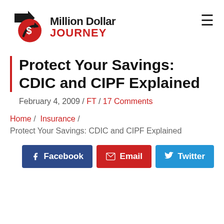Million Dollar JOURNEY
Protect Your Savings: CDIC and CIPF Explained
February 4, 2009 / FT / 17 Comments
Home / Insurance / Protect Your Savings: CDIC and CIPF Explained